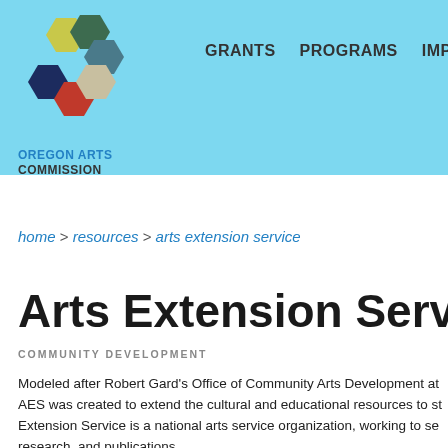[Figure (logo): Oregon Arts Commission hexagonal logo with colorful hexagons (yellow-green, dark green, teal, dark navy, red, tan/beige) arranged in a cluster]
GRANTS   PROGRAMS   IMPACT
OREGON ARTS COMMISSION
home > resources > arts extension service
Arts Extension Service
COMMUNITY DEVELOPMENT
Modeled after Robert Gard's Office of Community Arts Development at AES was created to extend the cultural and educational resources to st Extension Service is a national arts service organization, working to se research, and publications.